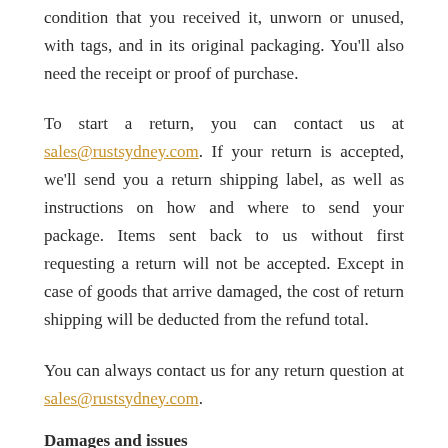condition that you received it, unworn or unused, with tags, and in its original packaging. You'll also need the receipt or proof of purchase.
To start a return, you can contact us at sales@rustsydney.com. If your return is accepted, we'll send you a return shipping label, as well as instructions on how and where to send your package. Items sent back to us without first requesting a return will not be accepted. Except in case of goods that arrive damaged, the cost of return shipping will be deducted from the refund total.
You can always contact us for any return question at sales@rustsydney.com.
Damages and issues
Please inspect your order upon reception and contact us